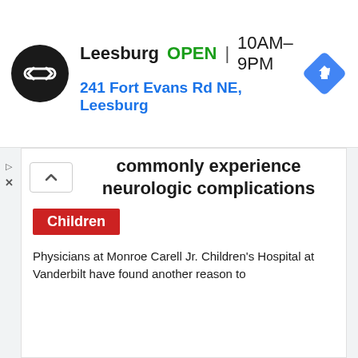[Figure (screenshot): Ad banner showing a store logo (black circle with double arrow icon), store name 'Leesburg', green 'OPEN' label, hours '10AM–9PM', address '241 Fort Evans Rd NE, Leesburg' in blue, and a blue navigation diamond icon on the right.]
commonly experience neurologic complications
Children
Physicians at Monroe Carell Jr. Children's Hospital at Vanderbilt have found another reason to